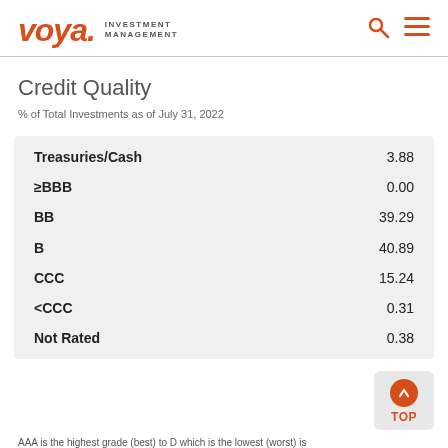Voya Investment Management
Credit Quality
% of Total Investments as of July 31, 2022
| Category | Value |
| --- | --- |
| Treasuries/Cash | 3.88 |
| ≥BBB | 0.00 |
| BB | 39.29 |
| B | 40.89 |
| CCC | 15.24 |
| <CCC | 0.31 |
| Not Rated | 0.38 |
AAA is the highest grade (best) to D which is the lowest (worst) is